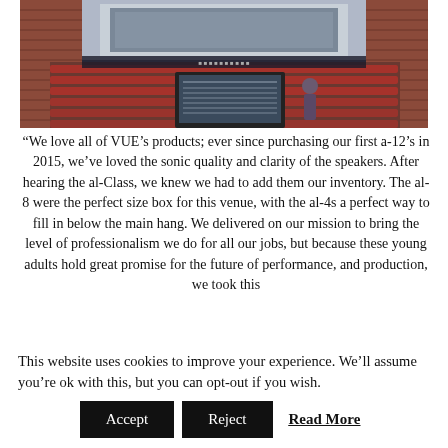[Figure (photo): Interior of a theater with brick walls, red seats in rows, a stage with a screen showing content, and a person standing at a computer/monitor in the foreground.]
“We love all of VUE’s products; ever since purchasing our first a-12’s in 2015, we’ve loved the sonic quality and clarity of the speakers. After hearing the al-Class, we knew we had to add them our inventory. The al-8 were the perfect size box for this venue, with the al-4s a perfect way to fill in below the main hang. We delivered on our mission to bring the level of professionalism we do for all our jobs, but because these young adults hold great promise for the future of performance, and production, we took this
This website uses cookies to improve your experience. We’ll assume you’re ok with this, but you can opt-out if you wish.
Accept   Reject   Read More